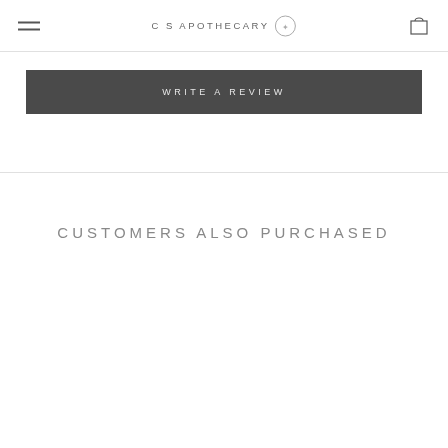CS APOTHECARY
WRITE A REVIEW
CUSTOMERS ALSO PURCHASED